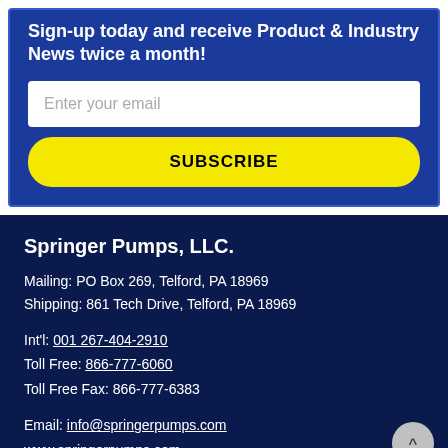Sign-up today and receive Product & Industry News twice a month!
[Figure (other): Email input field with placeholder 'Enter your email']
[Figure (other): Yellow subscribe button with text 'SUBSCRIBE']
Springer Pumps, LLC.
Mailing: PO Box 269, Telford, PA 18969
Shipping: 861 Tech Drive, Telford, PA 18969
Int'l: 001 267-404-2910
Toll Free: 866-777-6060
Toll Free Fax: 866-777-6383
Email: info@springerpumps.com
www.springerpumps.com